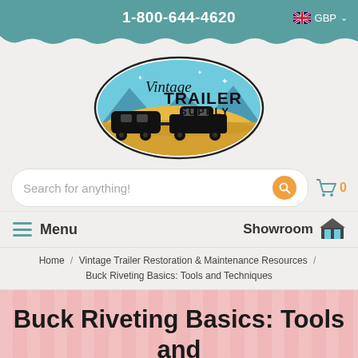1-800-644-4620  GBP
[Figure (logo): Vintage Trailer Supply logo: oval shape with blue sky, yellow/tan desert hills, silhouette of vintage trailer and towing car, text 'Vintage TRAILER SUPPLY' with stars]
Search for anything!
Menu   Showroom
Home / Vintage Trailer Restoration & Maintenance Resources / Buck Riveting Basics: Tools and Techniques
Buck Riveting Basics: Tools and Techniques
[Figure (photo): Partial view of a black and white photograph at the bottom of the page]